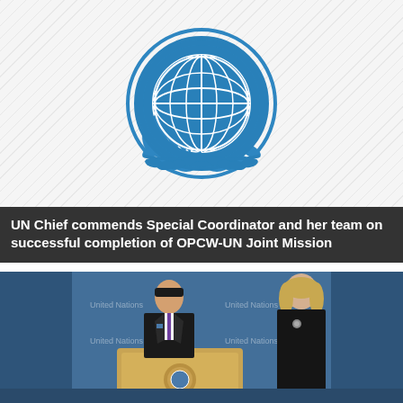[Figure (logo): United Nations emblem — blue globe with world map surrounded by olive branches, concentric rings]
UN Chief commends Special Coordinator and her team on successful completion of OPCW-UN Joint Mission
[Figure (photo): Press conference photo: Ban Ki-moon speaking at a UN podium, with a woman in black standing to his right, both in front of a blue UN backdrop]